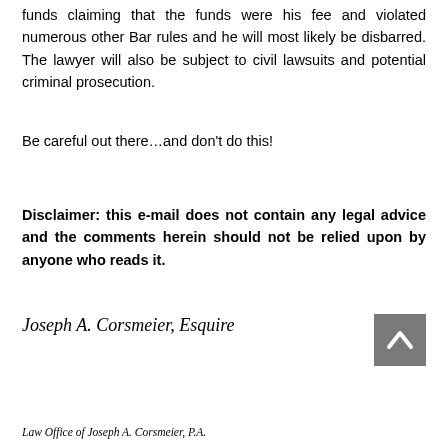funds claiming that the funds were his fee and violated numerous other Bar rules and he will most likely be disbarred. The lawyer will also be subject to civil lawsuits and potential criminal prosecution.
Be careful out there…and don't do this!
Disclaimer: this e-mail does not contain any legal advice and the comments herein should not be relied upon by anyone who reads it.
Joseph A. Corsmeier, Esquire
[Figure (other): Back to top arrow button, grey square with upward chevron icon]
Law Office of Joseph A. Corsmeier, P.A.